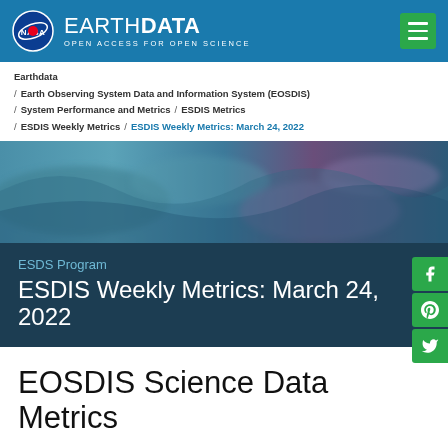EARTHDATA | OPEN ACCESS FOR OPEN SCIENCE
Earthdata / Earth Observing System Data and Information System (EOSDIS) / System Performance and Metrics / ESDIS Metrics / ESDIS Weekly Metrics / ESDIS Weekly Metrics: March 24, 2022
[Figure (photo): Satellite imagery showing coastal/ocean area with blue, teal and purple tones, used as a decorative hero banner]
ESDS Program
ESDIS Weekly Metrics: March 24, 2022
EOSDIS Science Data Metrics